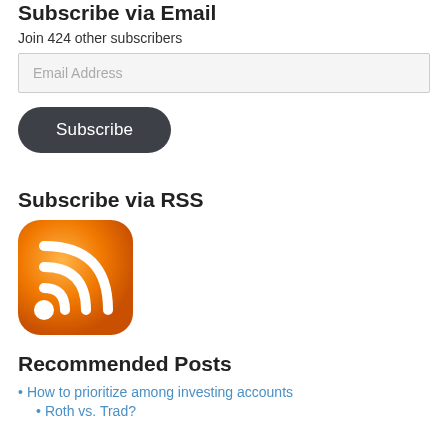Subscribe via Email
Join 424 other subscribers
Email Address
Subscribe
Subscribe via RSS
[Figure (logo): Orange RSS feed icon — rounded square with white RSS signal arcs and dot on orange gradient background]
Recommended Posts
How to prioritize among investing accounts
Roth vs. Trad?